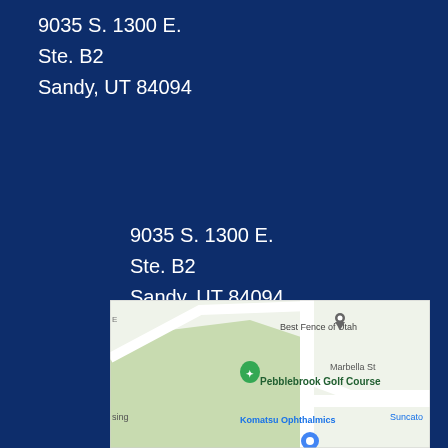9035 S. 1300 E.
Ste. B2
Sandy, UT 84094
9035 S. 1300 E.
Ste. B2
Sandy, UT 84094
[Figure (map): Google Maps snippet showing Best Fence of Utah, Pebblebrook Golf Course, Komatsu Ophthalmics, Marbella St, and partial labels for 'sing' (housing) and 'Suncato' on a street map background.]